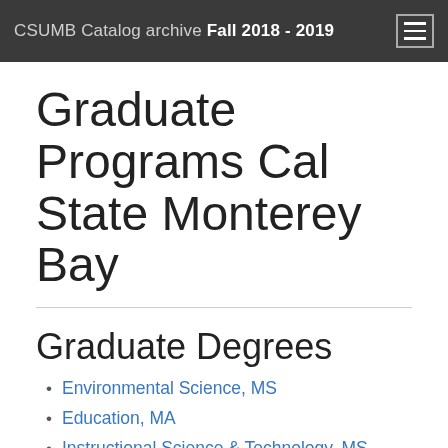CSUMB Catalog archive Fall 2018 - 2019
Graduate Programs Cal State Monterey Bay
Graduate Degrees
Environmental Science, MS
Education, MA
Instructional Science & Technology, MS
Master of Business Administration
Marine Science, MS
Master of Social Work
Physician Assistant, MS